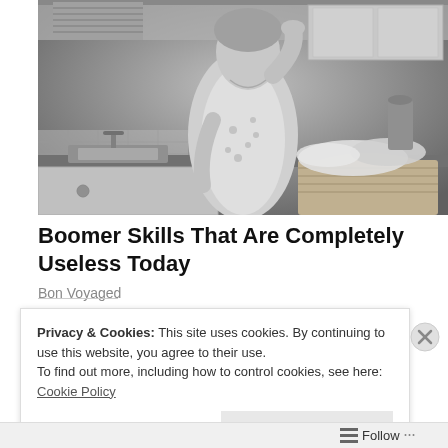[Figure (photo): Black and white vintage photo of a woman in a floral apron in a 1950s kitchen, standing at the counter with a laundry basket nearby, hand raised to her forehead]
Boomer Skills That Are Completely Useless Today
Bon Voyaged
Privacy & Cookies: This site uses cookies. By continuing to use this website, you agree to their use.
To find out more, including how to control cookies, see here: Cookie Policy
Close and accept
Follow